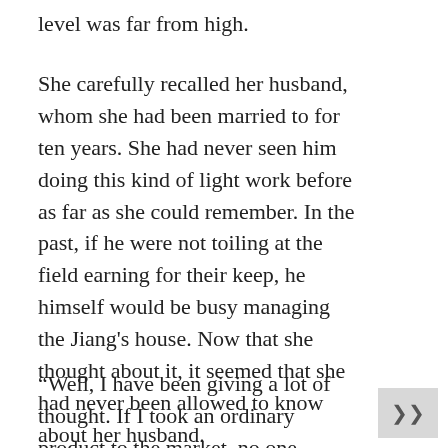level was far from high.
She carefully recalled her husband, whom she had been married to for ten years. She had never seen him doing this kind of light work before as far as she could remember. In the past, if he were not toiling at the field earning for their keep, he himself would be busy managing the Jiang’s house. Now that she thought about it, it seemed that she had never been allowed to know about her husband.
“Well, I have been giving a lot of thought. If I took an ordinary product to the market, no one